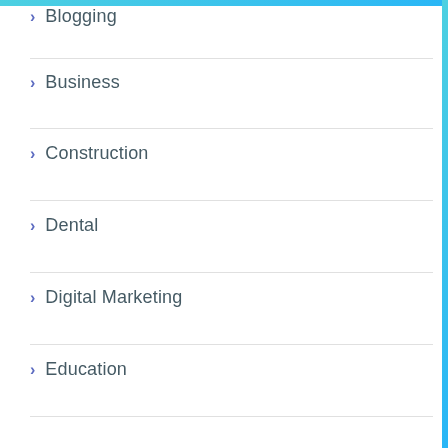Blogging
Business
Construction
Dental
Digital Marketing
Education
Entertainment
Finance
Fitness